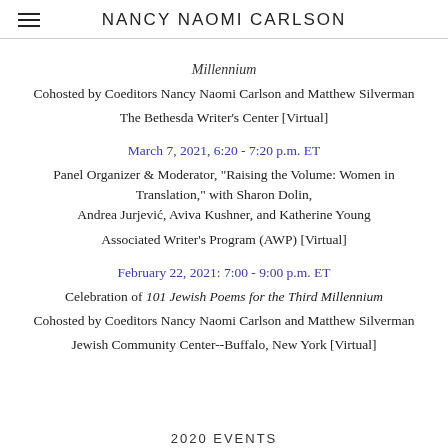NANCY NAOMI CARLSON
Millennium
Cohosted by Coeditors Nancy Naomi Carlson and Matthew Silverman
The Bethesda Writer's Center [Virtual]
March 7, 2021, 6:20 - 7:20 p.m. ET
Panel Organizer & Moderator, "Raising the Volume: Women in Translation," with Sharon Dolin, Andrea Jurjević, Aviva Kushner, and Katherine Young
Associated Writer's Program (AWP) [Virtual]
February 22, 2021: 7:00 - 9:00 p.m. ET
Celebration of 101 Jewish Poems for the Third Millennium
Cohosted by Coeditors Nancy Naomi Carlson and Matthew Silverman
Jewish Community Center--Buffalo, New York [Virtual]
2020 EVENTS